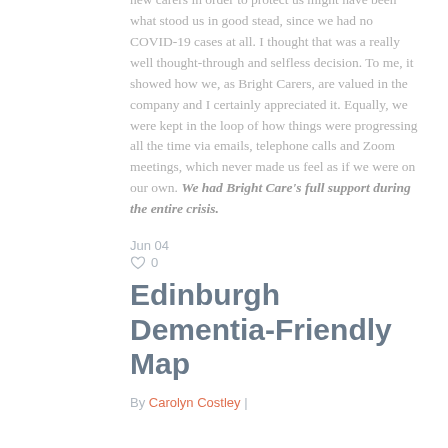new carers in order to protect us might have been what stood us in good stead, since we had no COVID-19 cases at all. I thought that was a really well thought-through and selfless decision. To me, it showed how we, as Bright Carers, are valued in the company and I certainly appreciated it. Equally, we were kept in the loop of how things were progressing all the time via emails, telephone calls and Zoom meetings, which never made us feel as if we were on our own. We had Bright Care's full support during the entire crisis.
Jun 04
0
Edinburgh Dementia-Friendly Map
By Carolyn Costley |